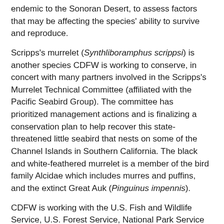endemic to the Sonoran Desert, to assess factors that may be affecting the species' ability to survive and reproduce.
Scripps's murrelet (Synthliboramphus scrippsi) is another species CDFW is working to conserve, in concert with many partners involved in the Scripps's Murrelet Technical Committee (affiliated with the Pacific Seabird Group). The committee has prioritized management actions and is finalizing a conservation plan to help recover this state-threatened little seabird that nests on some of the Channel Islands in Southern California. The black and white-feathered murrelet is a member of the bird family Alcidae which includes murres and puffins, and the extinct Great Auk (Pinguinus impennis).
CDFW is working with the U.S. Fish and Wildlife Service, U.S. Forest Service, National Park Service and others to develop and implement conservation actions such as disease treatment, captive rearing, reintroductions and habitat restoration for three high-risk species of Sierra Nevada amphibians: the Yosemite toad (Anaxyrus canorus), southern mountain yellow-legged frog (Rana muscosa), and Sierra Nevada yellow-legged frog (Rana sierrae).
In partnership with a private land owner, CDFW biologists helped restore habitat for Shoshone pupfish (Cyprinodon nevadensis Shoshone), a rare endemic State Species of Concern, listed with high vulnerability from the edge of their...